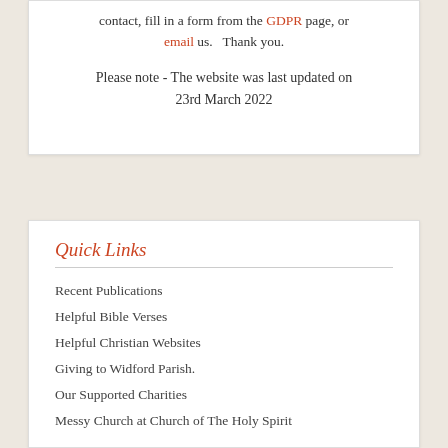contact, fill in a form from the GDPR page, or email us.   Thank you.
Please note - The website was last updated on 23rd March 2022
Quick Links
Recent Publications
Helpful Bible Verses
Helpful Christian Websites
Giving to Widford Parish.
Our Supported Charities
Messy Church at Church of The Holy Spirit